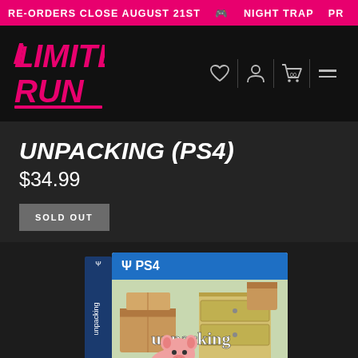RE-ORDERS CLOSE AUGUST 21ST   🎮   NIGHT TRAP   PR
[Figure (logo): Limited Run Games logo in pink/magenta on dark background]
UNPACKING (PS4)
$34.99
SOLD OUT
[Figure (photo): PS4 physical game case for Unpacking, showing the game's cover art with cardboard boxes, a pink pig character, and a dresser with drawer. Blue PS4 banner at top.]